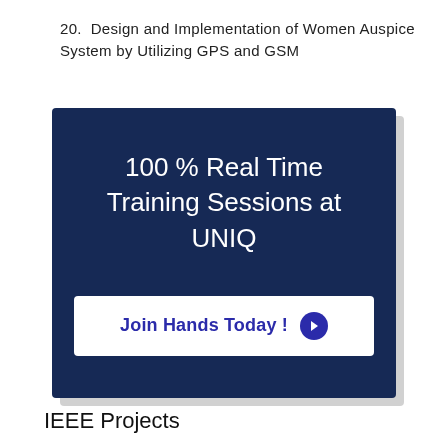20.  Design and Implementation of Women Auspice System by Utilizing GPS and GSM
[Figure (infographic): Dark navy blue banner advertisement for UNIQ training with text '100 % Real Time Training Sessions at UNIQ' and a white button labeled 'Join Hands Today !' with a circular arrow icon.]
IEEE Projects